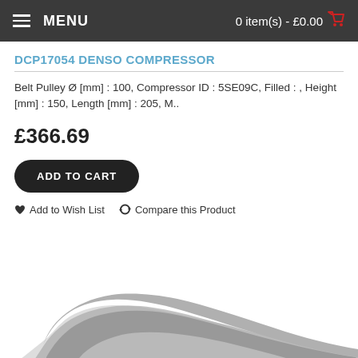MENU | 0 item(s) - £0.00
DCP17054 DENSO COMPRESSOR
Belt Pulley Ø [mm] : 100, Compressor ID : 5SE09C, Filled : , Height [mm] : 150, Length [mm] : 205, M..
£366.69
ADD TO CART
♥ Add to Wish List  ↺ Compare this Product
[Figure (photo): Partial view of a grey/silver compressor component silhouette against white background]